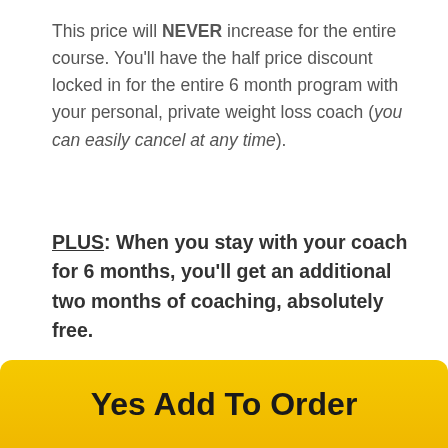This price will NEVER increase for the entire course. You'll have the half price discount locked in for the entire 6 month program with your personal, private weight loss coach (you can easily cancel at any time).
PLUS: When you stay with your coach for 6 months, you'll get an additional two months of coaching, absolutely free.
Yes Add To Order